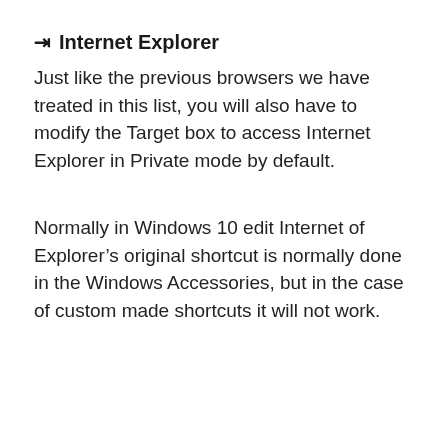⇒ Internet Explorer
Just like the previous browsers we have treated in this list, you will also have to modify the Target box to access Internet Explorer in Private mode by default.
Normally in Windows 10 edit Internet of Explorer's original shortcut is normally done in the Windows Accessories, but in the case of custom made shortcuts it will not work.